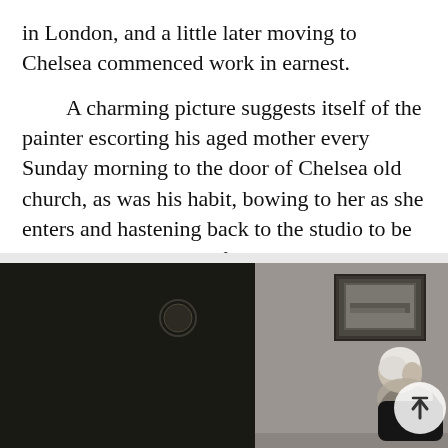in London, and a little later moving to Chelsea commenced work in earnest.
A charming picture suggests itself of the painter escorting his aged mother every Sunday morning to the door of Chelsea old church, as was his habit, bowing to her as she enters and hastening back to the studio to be witty with his Sunday friends.
[Figure (photo): Photograph of Whistler's Mother painting showing an elderly woman in profile seated in a room with a framed picture on the wall and a dark curtain on the left.]